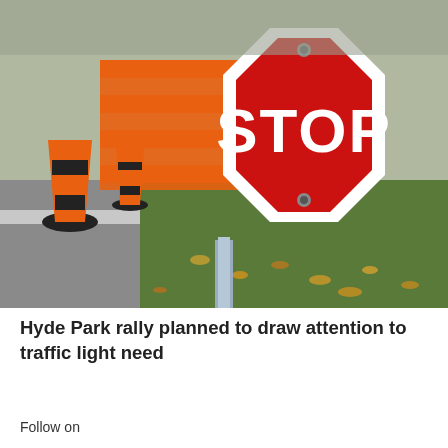[Figure (photo): A red octagonal STOP sign on a metal pole, photographed outdoors with orange and black striped traffic pylons and orange construction fencing visible in the background left, and green grass with fallen autumn leaves on the right.]
Hyde Park rally planned to draw attention to traffic light need
Follow on